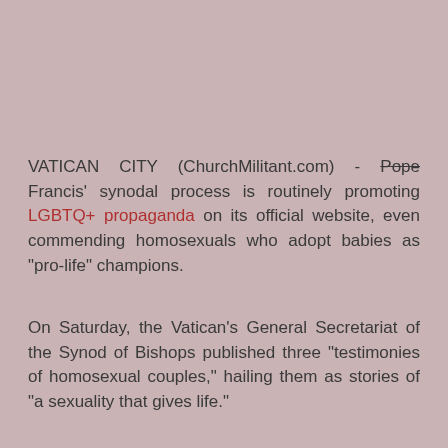VATICAN CITY (ChurchMilitant.com) - Pope Francis' synodal process is routinely promoting LGBTQ+ propaganda on its official website, even commending homosexuals who adopt babies as "pro-life" champions.
On Saturday, the Vatican's General Secretariat of the Synod of Bishops published three "testimonies of homosexual couples," hailing them as stories of "a sexuality that gives life."